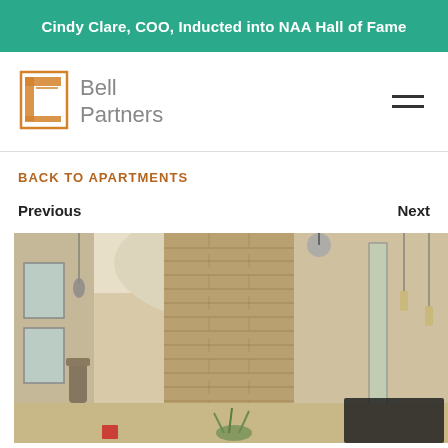Cindy Clare, COO, Inducted into NAA Hall of Fame
[Figure (logo): Bell Partners logo with orange square icon and gray text]
BACK TO APARTMENTS
Previous
Next
[Figure (photo): Interior lobby photo showing stone fireplace column, pendant lighting, and modern apartment common area]